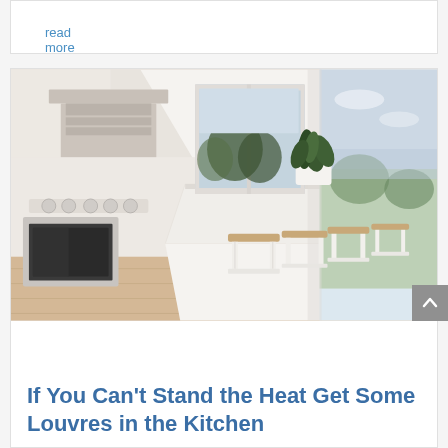read more
[Figure (photo): Bright modern white kitchen with large island bench, wooden bar stools, stainless steel range hood, built-in oven, gas cooktop, potted plant, and open view to outdoor landscape with trees and water in background.]
If You Can't Stand the Heat Get Some Louvres in the Kitchen